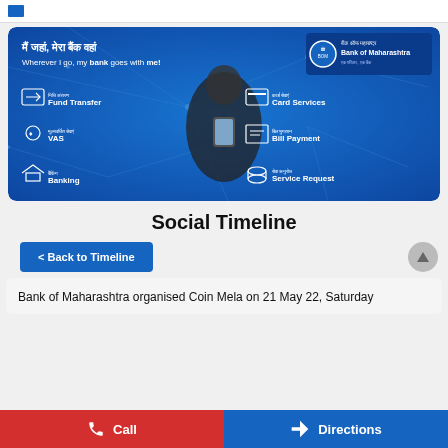[Figure (infographic): Bank of Maharashtra mobile banking app banner in blue showing Hindi and English text 'Wherever I go, my bank goes with me!' with icons for Fund Transfer, Card Services, VAS, Bill Payment, Banking, Service Request, and a person using a smartphone]
Social Timeline
< Back to Timeline
Bank of Maharashtra organised Coin Mela on 21 May 22, Saturday
Call   Directions